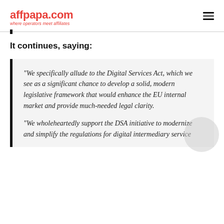affpapa.com — where operators meet affiliates
It continues, saying:
“We specifically allude to the Digital Services Act, which we see as a significant chance to develop a solid, modern legislative framework that would enhance the EU internal market and provide much-needed legal clarity.

“We wholeheartedly support the DSA initiative to modernize and simplify the regulations for digital intermediary service